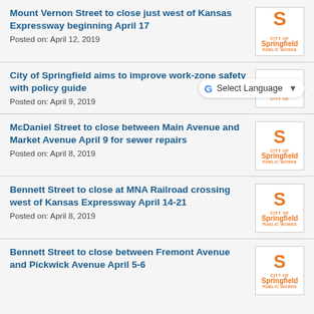Mount Vernon Street to close just west of Kansas Expressway beginning April 17
Posted on: April 12, 2019
City of Springfield aims to improve work-zone safety with policy guide
Posted on: April 9, 2019
McDaniel Street to close between Main Avenue and Market Avenue April 9 for sewer repairs
Posted on: April 8, 2019
Bennett Street to close at MNA Railroad crossing west of Kansas Expressway April 14-21
Posted on: April 8, 2019
Bennett Street to close between Fremont Avenue and Pickwick Avenue April 5-6